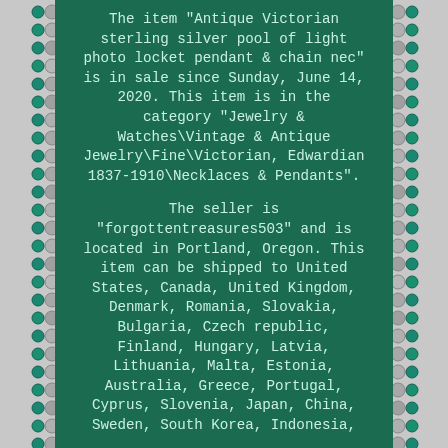[Figure (photo): Background photo showing jewelry beads (teal/turquoise and silver beads) on left and right sides with a dark green panel in the center containing product listing text.]
The item "Antique Victorian sterling silver pool of light photo locket pendant & chain nec" is in sale since Sunday, June 14, 2020. This item is in the category "Jewelry & Watches\Vintage & Antique Jewelry\Fine\Victorian, Edwardian 1837-1910\Necklaces & Pendants".
The seller is "forgottentreasures503" and is located in Portland, Oregon. This item can be shipped to United States, Canada, United Kingdom, Denmark, Romania, Slovakia, Bulgaria, Czech republic, Finland, Hungary, Latvia, Lithuania, Malta, Estonia, Australia, Greece, Portugal, Cyprus, Slovenia, Japan, China, Sweden, South Korea, Indonesia,